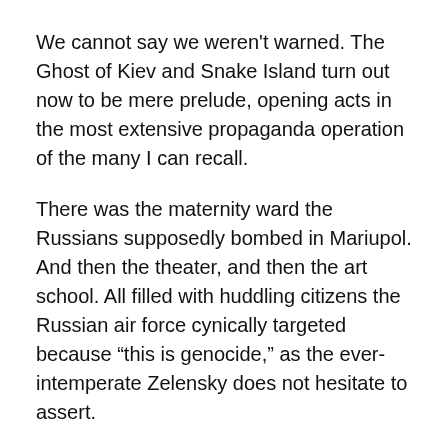We cannot say we weren't warned. The Ghost of Kiev and Snake Island turn out now to be mere prelude, opening acts in the most extensive propaganda operation of the many I can recall.
There was the maternity ward the Russians supposedly bombed in Mariupol. And then the theater, and then the art school. All filled with huddling citizens the Russian air force cynically targeted because “this is genocide,” as the ever-intemperate Zelensky does not hesitate to assert.
All of this has been reported as fact in the Times and other major dailies and, of course, by the major broadcasters. There have been pictures. There have been videos, all very persuasive to the eye.
And then, as evidence mounts that these incidents were